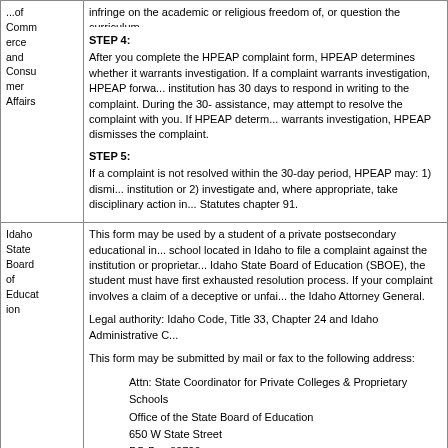| Agency | Description |
| --- | --- |
| ...of Commerce and Consumer Affairs | infringe on the academic or religious freedom of, or question the curriculum ...

STEP 4:
After you complete the HPEAP complaint form, HPEAP determines whether it warrants investigation. If a complaint warrants investigation, HPEAP forwa... institution has 30 days to respond in writing to the complaint. During the 30- assistance, may attempt to resolve the complaint with you. If HPEAP determ... warrants investigation, HPEAP dismisses the complaint.

STEP 5:
If a complaint is not resolved within the 30-day period, HPEAP may: 1) dismi... institution or 2) investigate and, where appropriate, take disciplinary action in... Statutes chapter 91. |
| Idaho State Board of Education | This form may be used by a student of a private postsecondary educational in... school located in Idaho to file a complaint against the institution or proprietar... Idaho State Board of Education (SBOE), the student must have first exhausted resolution process. If your complaint involves a claim of a deceptive or unfai... the Idaho Attorney General.

Legal authority: Idaho Code, Title 33, Chapter 24 and Idaho Administrative C...

This form may be submitted by mail or fax to the following address:

    Attn: State Coordinator for Private Colleges & Proprietary Schools
    Office of the State Board of Education
    650 W State Street
    PO Box 83720
    Boise, ID 83720-0037
    Fax number: 208-334-2632. |